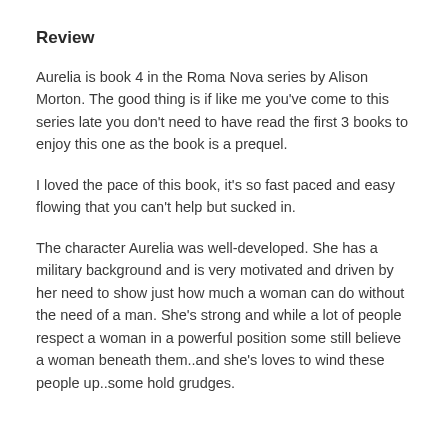Review
Aurelia is book 4 in the Roma Nova series by Alison Morton. The good thing is if like me you've come to this series late you don't need to have read the first 3 books to enjoy this one as the book is a prequel.
I loved the pace of this book, it's so fast paced and easy flowing that you can't help but sucked in.
The character Aurelia was well-developed. She has a military background and is very motivated and driven by her need to show just how much a woman can do without the need of a man. She's strong and while a lot of people respect a woman in a powerful position some still believe a woman beneath them..and she's loves to wind these people up..some hold grudges.